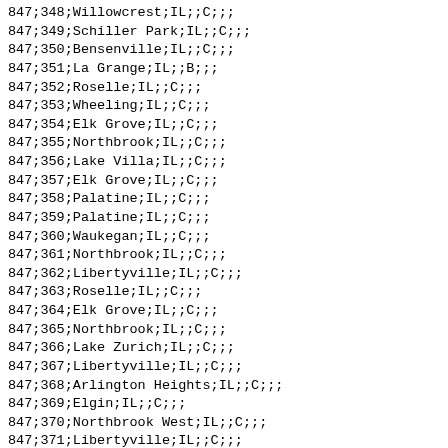847;348;Willowcrest;IL;;C;;;
847;349;Schiller Park;IL;;C;;;
847;350;Bensenville;IL;;C;;;
847;351;La Grange;IL;;B;;;
847;352;Roselle;IL;;C;;;
847;353;Wheeling;IL;;C;;;
847;354;Elk Grove;IL;;C;;;
847;355;Northbrook;IL;;C;;;
847;356;Lake Villa;IL;;C;;;
847;357;Elk Grove;IL;;C;;;
847;358;Palatine;IL;;C;;;
847;359;Palatine;IL;;C;;;
847;360;Waukegan;IL;;C;;;
847;361;Northbrook;IL;;C;;;
847;362;Libertyville;IL;;C;;;
847;363;Roselle;IL;;C;;;
847;364;Elk Grove;IL;;C;;;
847;365;Northbrook;IL;;C;;;
847;366;Lake Zurich;IL;;C;;;
847;367;Libertyville;IL;;C;;;
847;368;Arlington Heights;IL;;C;;;
847;369;Elgin;IL;;C;;;
847;370;Northbrook West;IL;;C;;;
847;371;Libertyville;IL;;C;;;
847;372;Northbrook;IL;;C;;;
847;373;Roselle;IL;;C;;;
847;374;Deerfield;IL;;C;;;
847;375;Des Plaines;IL;;C;;;
847;376;Des Plaines;IL;;C;;;
847;377;North Chicago;IL;;C;;;
847;378;Elk Grove;IL;;C;;;